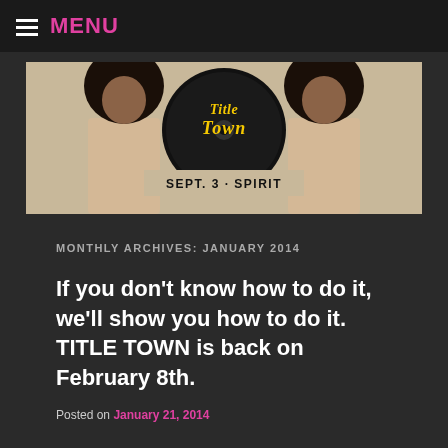MENU
[Figure (photo): Banner image for Title Town event: two photos of a Black woman with an afro in a beige blazer, mirrored. Center shows 'Title Town' logo in yellow retro script on a black vinyl record graphic, with text 'SEPT. 3 · SPIRIT' below.]
MONTHLY ARCHIVES: JANUARY 2014
If you don't know how to do it, we'll show you how to do it. TITLE TOWN is back on February 8th.
Posted on January 21, 2014